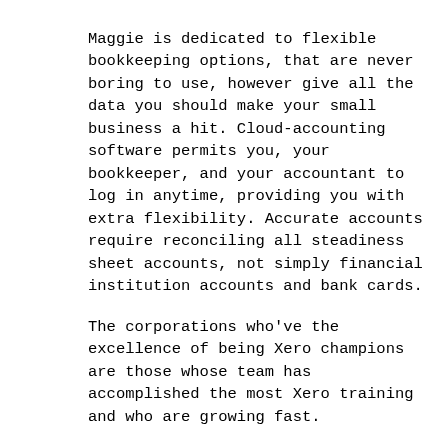Maggie is dedicated to flexible bookkeeping options, that are never boring to use, however give all the data you should make your small business a hit. Cloud-accounting software permits you, your bookkeeper, and your accountant to log in anytime, providing you with extra flexibility. Accurate accounts require reconciling all steadiness sheet accounts, not simply financial institution accounts and bank cards.
The corporations who've the excellence of being Xero champions are those whose team has accomplished the most Xero training and who are growing fast.
Bas Agent Providers
It's a lot better to ask your bookkeeper to do this saving you time that will be higher used elsewhere. If you have staff, payroll and recording workers entitlements can be a frequent and laborious task. Your bookkeeper can present you methods to handle unhealthy money owed and might make calls to those prospects to ask them for partial or full fee.
With the extremely professional services of our experienced bookkeepers, we are able to offer you some ways to take the stress out of your bookkeeping. We specialize in both